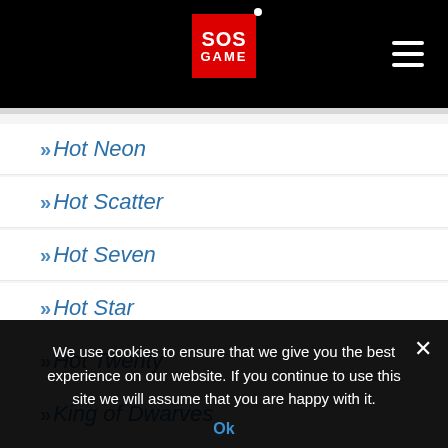SOS GAME - navigation header with logo and hamburger menu
Hot Neon
Hot Scatter
Hot Seven
Hot Star
Hot Twenty
King of Dwarves
Kings Crown
La Gran Aventura
We use cookies to ensure that we give you the best experience on our website. If you continue to use this site we will assume that you are happy with it.
Ok